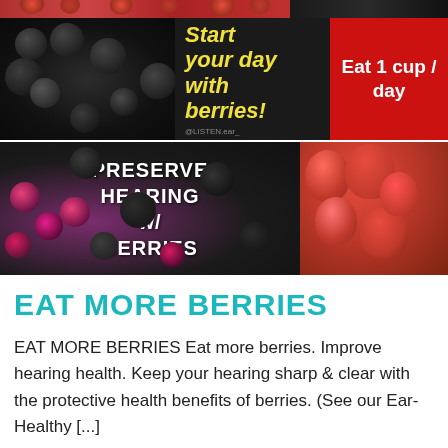[Figure (photo): Row of berry photos at very top strip with red berries and dark berries]
[Figure (infographic): Black currant berry photo on left, dark panel with yellow italic text 'Start your day with berries!' and @LISTEN.ear_ tag, red panel on right with white text 'Eat 1 cup / day']
[Figure (infographic): Dark berries (blackberries and raspberries) photo with white bold text overlay 'PRESERVE HEARING w/ BERRIES', and strawberry photo on right]
EAT MORE BERRIES
EAT MORE BERRIES Eat more berries. Improve hearing health. Keep your hearing sharp & clear with the protective health benefits of berries. (See our Ear-Healthy [...]